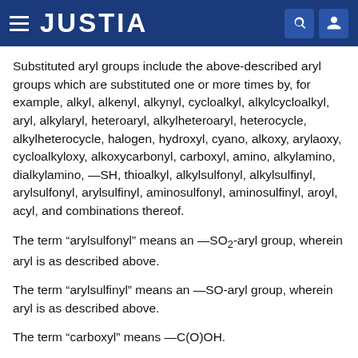JUSTIA
Substituted aryl groups include the above-described aryl groups which are substituted one or more times by, for example, alkyl, alkenyl, alkynyl, cycloalkyl, alkylcycloalkyl, aryl, alkylaryl, heteroaryl, alkylheteroaryl, heterocycle, alkylheterocycle, halogen, hydroxyl, cyano, alkoxy, arylaoxy, cycloalkyloxy, alkoxycarbonyl, carboxyl, amino, alkylamino, dialkylamino, —SH, thioalkyl, alkylsulfonyl, alkylsulfinyl, arylsulfonyl, arylsulfinyl, aminosulfonyl, aminosulfinyl, aroyl, acyl, and combinations thereof.
The term “arylsulfonyl” means an —SO₂-aryl group, wherein aryl is as described above.
The term “arylsulfinyl” means an —SO-aryl group, wherein aryl is as described above.
The term “carboxyl” means —C(O)OH.